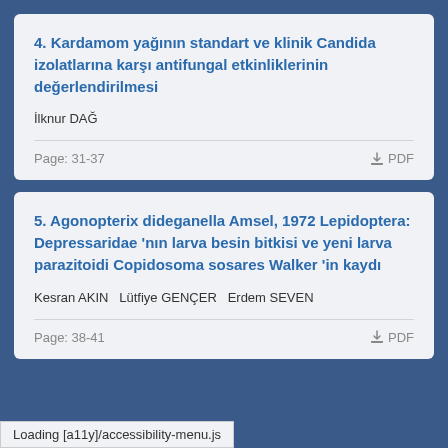4. Kardamom yağının standart ve klinik Candida izolatlarına karşı antifungal etkinliklerinin değerlendirilmesi
İlknur DAĞ
Page: 31-37
5. Agonopterix dideganella Amsel, 1972 Lepidoptera: Depressaridae 'nın larva besin bitkisi ve yeni larva parazitoidi Copidosoma sosares Walker 'in kaydı
Kesran AKIN  Lütfiye GENÇER  Erdem SEVEN
Page: 38-41
Loading [a11y]/accessibility-menu.js